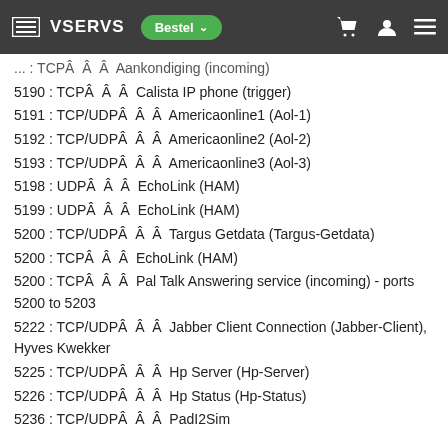VSERVS — Bestel
... : TCP  Â  Â  Aankondiging (incoming)
5190 : TCPÂ Â Â Calista IP phone (trigger)
5191 : TCP/UDPÂ Â Â Americaonline1 (Aol-1)
5192 : TCP/UDPÂ Â Â Americaonline2 (Aol-2)
5193 : TCP/UDPÂ Â Â Americaonline3 (Aol-3)
5198 : UDPÂ Â Â EchoLink (HAM)
5199 : UDPÂ Â Â EchoLink (HAM)
5200 : TCP/UDPÂ Â Â Targus Getdata (Targus-Getdata)
5200 : TCPÂ Â Â EchoLink (HAM)
5200 : TCPÂ Â Â Pal Talk Answering service (incoming) - ports 5200 to 5203
5222 : TCP/UDPÂ Â Â Jabber Client Connection (Jabber-Client), Hyves Kwekker
5225 : TCP/UDPÂ Â Â Hp Server (Hp-Server)
5226 : TCP/UDPÂ Â Â Hp Status (Hp-Status)
5236 : TCP/UDPÂ Â Â PadI2Sim